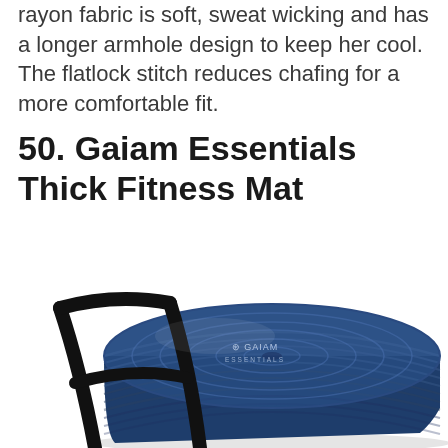rayon fabric is soft, sweat wicking and has a longer armhole design to keep her cool. The flatlock stitch reduces chafing for a more comfortable fit.
50. Gaiam Essentials Thick Fitness Mat
[Figure (photo): A rolled blue Gaiam Essentials thick fitness mat with black carry straps, viewed from a slight angle showing the rolled edge and Gaiam Essentials logo.]